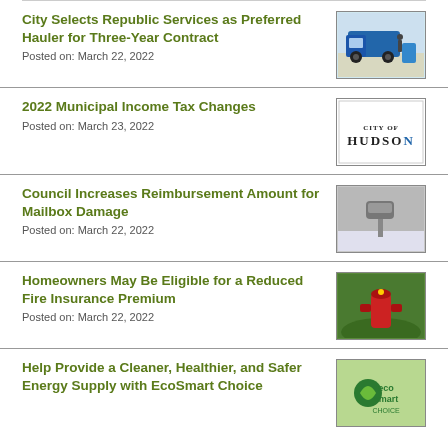City Selects Republic Services as Preferred Hauler for Three-Year Contract
Posted on: March 22, 2022
[Figure (photo): Blue garbage truck with worker]
2022 Municipal Income Tax Changes
Posted on: March 23, 2022
[Figure (logo): Hudson city logo]
Council Increases Reimbursement Amount for Mailbox Damage
Posted on: March 22, 2022
[Figure (photo): Damaged mailbox in snow]
Homeowners May Be Eligible for a Reduced Fire Insurance Premium
Posted on: March 22, 2022
[Figure (photo): Red fire hydrant]
Help Provide a Cleaner, Healthier, and Safer Energy Supply with EcoSmart Choice
[Figure (logo): EcoSmart Choice logo]